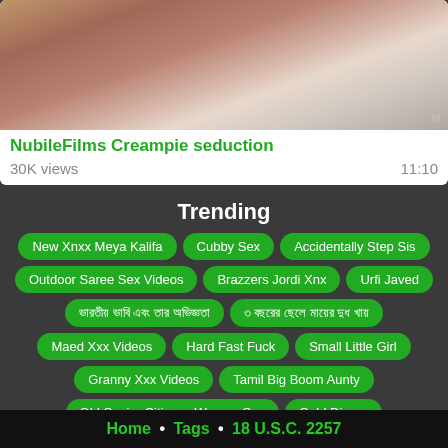[Figure (photo): Video thumbnail showing intimate scene on white bedding]
NubileFilms Creampie seduction
30K views   11:10
Trending
New Xnxx Meya Kalifa
Cubby Sex
Accidentally Step Sis
Outdoor Saree Sex Videos
Brazzers Jordi Xnx
Urfi Javed
ভারতীয় ভাবি এবং তার অভিজ্ঞতা
৩ বছরের ছেলে মায়ের দুধ খায়
Maed Xxx Videos
Hard Fast Fuck
Small Little Girl
Granny Xxx Videos
Tamil Big Boom Aunty
Old Senior Citizens Women Sex
Gold Digger
Home • Tags • 18 U.S.C. 2257